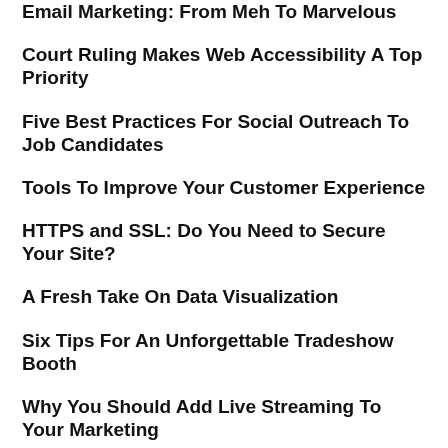Email Marketing: From Meh To Marvelous
Court Ruling Makes Web Accessibility A Top Priority
Five Best Practices For Social Outreach To Job Candidates
Tools To Improve Your Customer Experience
HTTPS and SSL: Do You Need to Secure Your Site?
A Fresh Take On Data Visualization
Six Tips For An Unforgettable Tradeshow Booth
Why You Should Add Live Streaming To Your Marketing
Proof Points: Walking The Talk